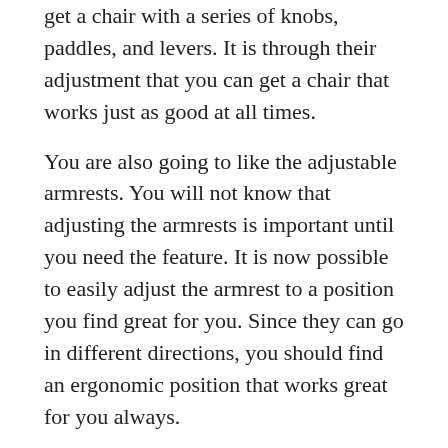get a chair with a series of knobs, paddles, and levers. It is through their adjustment that you can get a chair that works just as good at all times.
You are also going to like the adjustable armrests. You will not know that adjusting the armrests is important until you need the feature. It is now possible to easily adjust the armrest to a position you find great for you. Since they can go in different directions, you should find an ergonomic position that works great for you always.
Having a flexible seat edge is a must so that you can avoid interruptions to blood flow to the leg areas. For this one, you get it is flexible, so there